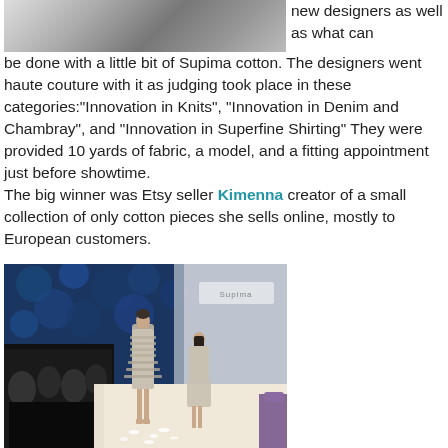[Figure (photo): Black and white photograph of a fashion design, showing white garment with ruffles or layered fabric.]
new designers as well as what can be done with a little bit of Supima cotton. The designers went haute couture with it as judging took place in these categories:"Innovation in Knits", "Innovation in Denim and Chambray", and "Innovation in Superfine Shirting" They were provided 10 yards of fabric, a model, and a fitting appointment just before showtime.
The big winner was Etsy seller Kimenna creator of a small collection of only cotton pieces she sells online, mostly to European customers.
[Figure (photo): Fashion runway photo showing two models walking on a white runway. Audience seated on the left. Blue floral backdrop visible in background. Models wearing neutral/beige cotton garments. White petals on the floor.]